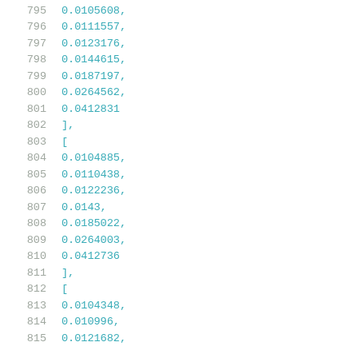795    0.0105608,
796    0.0111557,
797    0.0123176,
798    0.0144615,
799    0.0187197,
800    0.0264562,
801    0.0412831
802    ],
803    [
804    0.0104885,
805    0.0110438,
806    0.0122236,
807    0.0143,
808    0.0185022,
809    0.0264003,
810    0.0412736
811    ],
812    [
813    0.0104348,
814    0.010996,
815    0.0121682,